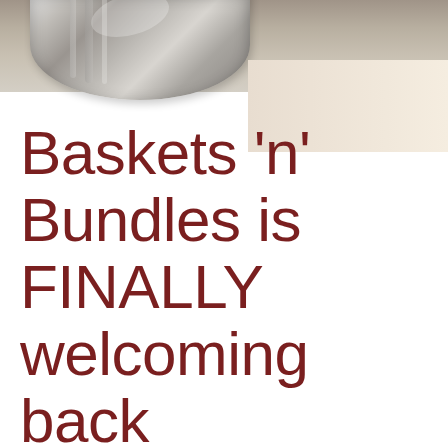[Figure (photo): Partial view of a metallic mixing bowl or similar kitchen object against a cream/beige background, cropped at the top of the page]
Baskets 'n' Bundles is FINALLY welcoming back customers